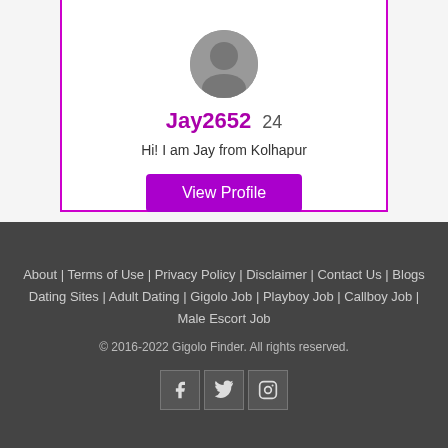[Figure (photo): Circular profile photo avatar, blurred/greyed]
Jay2652 24
Hi! I am Jay from Kolhapur
View Profile
About | Terms of Use | Privacy Policy | Disclaimer | Contact Us | Blogs
Dating Sites | Adult Dating | Gigolo Job | Playboy Job | Callboy Job | Male Escort Job
© 2016-2022 Gigolo Finder. All rights reserved.
[Figure (other): Social media icons: Facebook, Twitter, Instagram]